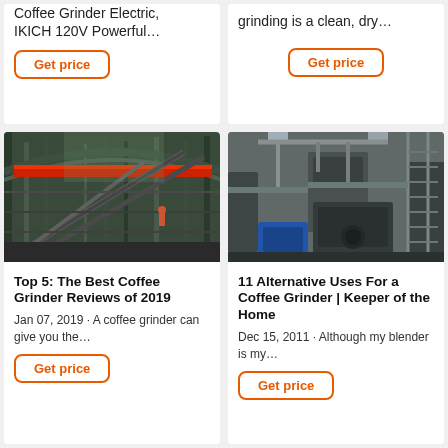Coffee Grinder Electric, IKICH 120V Powerful…
Get price
grinding is a clean, dry…
Get price
[Figure (photo): Industrial facility interior with steel structure, conveyor belts, and overhead crane with red beam]
[Figure (photo): Industrial factory interior with metal machinery, staircases, pipes and equipment]
Top 5: The Best Coffee Grinder Reviews of 2019
Jan 07, 2019 · A coffee grinder can give you the…
Get price
11 Alternative Uses For a Coffee Grinder | Keeper of the Home
Dec 15, 2011 · Although my blender is my…
Get price